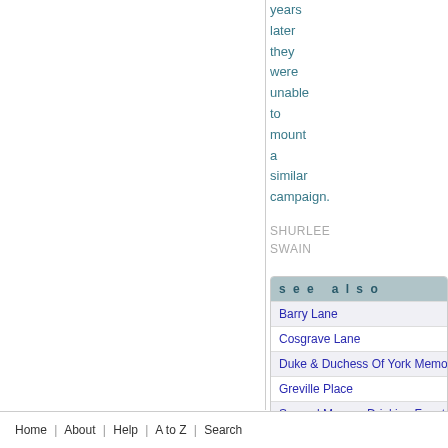years later they were unable to mount a similar campaign.
SHURLEE SWAIN
see also
Barry Lane
Cosgrave Lane
Duke & Duchess Of York Memo...
Greville Place
Samuel Mauger Drinking Founta...
Thomas Ferguson Memorial Dri...
Windsor Place
Home | About | Help | A to Z | Search